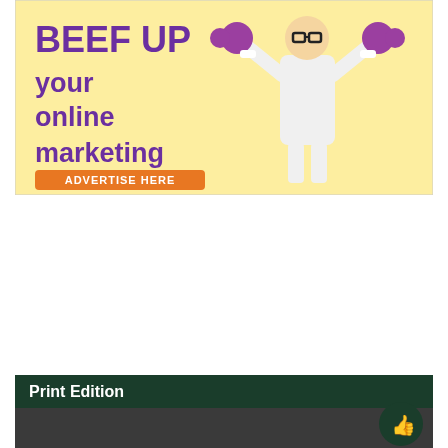[Figure (illustration): Advertisement banner with yellow background showing a man in white tank top lifting purple dumbbells, with text 'BEEF UP your online marketing' in purple and an orange 'ADVERTISE HERE' button]
Print Edition
[Figure (screenshot): Thumbnail of The North Wind newspaper front page dated December 3, 2021, Since 1972, thenorthwindonline.com, with headline 'Northstar rugby continues season']